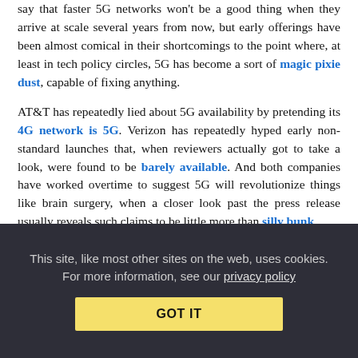say that faster 5G networks won't be a good thing when they arrive at scale several years from now, but early offerings have been almost comical in their shortcomings to the point where, at least in tech policy circles, 5G has become a sort of magic pixie dust, capable of fixing anything.
AT&T has repeatedly lied about 5G availability by pretending its 4G network is 5G. Verizon has repeatedly hyped early non-standard launches that, when reviewers actually got to take a look, were found to be barely available. And both companies have worked overtime to suggest 5G will revolutionize things like brain surgery, when a closer look past the press release usually reveals such claims to be little more than silly bunk.
Whereas normally it would be journalism's role to point these falsehoods out and deflate marketing hype, apparently major papers have decided to join the fun. The Washington Post and AT&T this week announced a new partnership that both sides claim in press
This site, like most other sites on the web, uses cookies. For more information, see our privacy policy